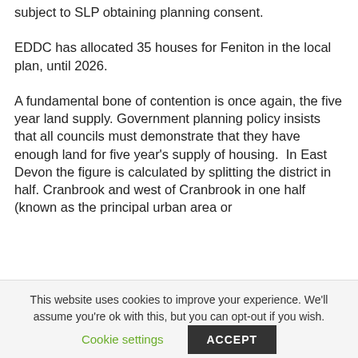subject to SLP obtaining planning consent.
EDDC has allocated 35 houses for Feniton in the local plan, until 2026.
A fundamental bone of contention is once again, the five year land supply. Government planning policy insists that all councils must demonstrate that they have enough land for five year’s supply of housing.  In East Devon the figure is calculated by splitting the district in half. Cranbrook and west of Cranbrook in one half (known as the principal urban area or
This website uses cookies to improve your experience. We'll assume you're ok with this, but you can opt-out if you wish.
Cookie settings
ACCEPT